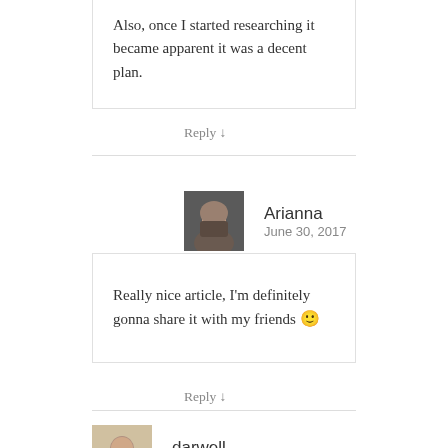Also, once I started researching it became apparent it was a decent plan.
Reply ↓
Arianna
June 30, 2017
Really nice article, I'm definitely gonna share it with my friends 🙂
Reply ↓
darwell
June 30, 2017